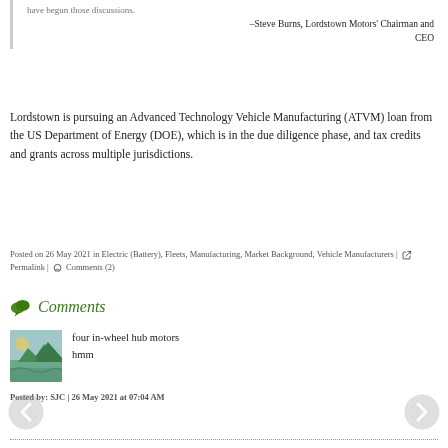–Steve Burns, Lordstown Motors' Chairman and CEO
Lordstown is pursuing an Advanced Technology Vehicle Manufacturing (ATVM) loan from the US Department of Energy (DOE), which is in the due diligence phase, and tax credits and grants across multiple jurisdictions.
Posted on 26 May 2021 in Electric (Battery), Fleets, Manufacturing, Market Background, Vehicle Manufacturers | Permalink | Comments (2)
Comments
[Figure (photo): Small thumbnail photo showing a nature scene with mountains, trees and a stream]
four in-wheel hub motors
hmm
Posted by: SJC | 26 May 2021 at 07:04 AM